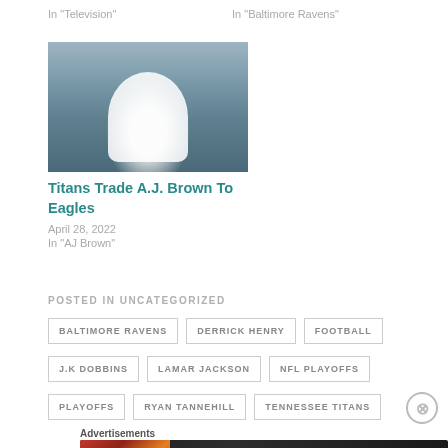In "Television"
In "Baltimore Ravens"
[Figure (photo): NFL player in white Titans jersey smiling, stadium background]
Titans Trade A.J. Brown To Eagles
April 28, 2022
In "AJ Brown"
POSTED IN UNCATEGORIZED
BALTIMORE RAVENS
DERRICK HENRY
FOOTBALL
J.K DOBBINS
LAMAR JACKSON
NFL PLAYOFFS
PLAYOFFS
RYAN TANNEHILL
TENNESSEE TITANS
Advertisements
[Figure (photo): Seamless food delivery advertisement with pizza and ORDER NOW button]